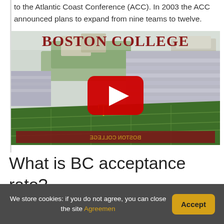to the Atlantic Coast Conference (ACC). In 2003 the ACC announced plans to expand from nine teams to twelve.
[Figure (screenshot): YouTube video thumbnail showing Boston College football stadium (Alumni Stadium) with the text 'Boston College' in dark red bold font at the top and a YouTube play button in the center. The field shows green turf with a red end zone marked 'Boston College'.]
What is BC acceptance rate?
We store cookies: if you do not agree, you can close the site Agreemen
Accept